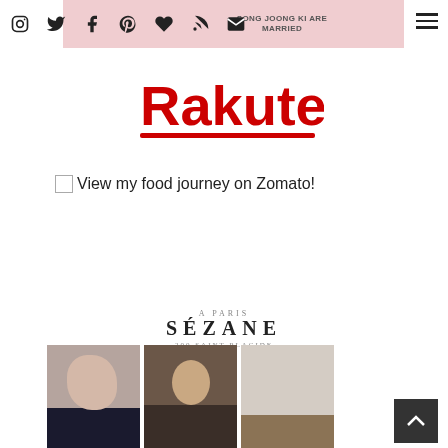Social navigation bar with icons: Instagram, Twitter, Facebook, Pinterest, Bloglovin, RSS, Email, and hamburger menu
SONG JOONG KI ARE MARRIED
[Figure (logo): Rakuten logo in red bold text with red underline]
View my food journey on Zomato!
[Figure (logo): Sézane logo with subtitle text]
[Figure (photo): Three fashion photos side by side: close-up portrait, person with wind-blown hair in front of ornate door, interior with person]
[Figure (other): Back to top chevron button]